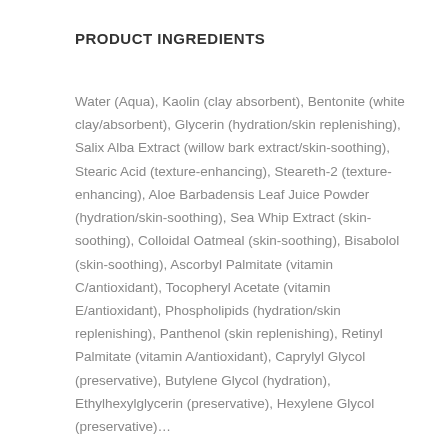PRODUCT INGREDIENTS
Water (Aqua), Kaolin (clay absorbent), Bentonite (white clay/absorbent), Glycerin (hydration/skin replenishing), Salix Alba Extract (willow bark extract/skin-soothing), Stearic Acid (texture-enhancing), Steareth-2 (texture-enhancing), Aloe Barbadensis Leaf Juice Powder (hydration/skin-soothing), Sea Whip Extract (skin-soothing), Colloidal Oatmeal (skin-soothing), Bisabolol (skin-soothing), Ascorbyl Palmitate (vitamin C/antioxidant), Tocopheryl Acetate (vitamin E/antioxidant), Phospholipids (hydration/skin replenishing), Panthenol (skin replenishing), Retinyl Palmitate (vitamin A/antioxidant), Caprylyl Glycol (preservative), Butylene Glycol (hydration), Ethylhexylglycerin (preservative), Hexylene Glycol (preservative)...